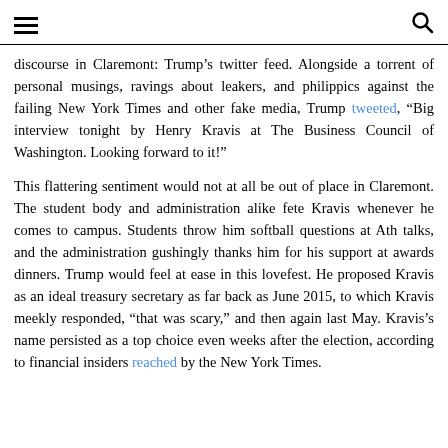[hamburger menu icon] [search icon]
discourse in Claremont: Trump's twitter feed. Alongside a torrent of personal musings, ravings about leakers, and philippics against the failing New York Times and other fake media, Trump tweeted, “Big interview tonight by Henry Kravis at The Business Council of Washington. Looking forward to it!”
This flattering sentiment would not at all be out of place in Claremont. The student body and administration alike fete Kravis whenever he comes to campus. Students throw him softball questions at Ath talks, and the administration gushingly thanks him for his support at awards dinners. Trump would feel at ease in this lovefest. He proposed Kravis as an ideal treasury secretary as far back as June 2015, to which Kravis meekly responded, “that was scary,” and then again last May. Kravis’s name persisted as a top choice even weeks after the election, according to financial insiders reached by the New York Times.